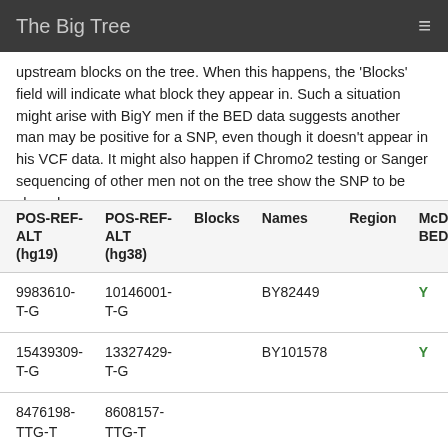The Big Tree
upstream blocks on the tree. When this happens, the 'Blocks' field will indicate what block they appear in. Such a situation might arise with BigY men if the BED data suggests another man may be positive for a SNP, even though it doesn't appear in his VCF data. It might also happen if Chromo2 testing or Sanger sequencing of other men not on the tree show the SNP to be shared.
| POS-REF-ALT (hg19) | POS-REF-ALT (hg38) | Blocks | Names | Region | McDona BED |
| --- | --- | --- | --- | --- | --- |
| 9983610-T-G | 10146001-T-G |  | BY82449 |  | Y |
| 15439309-T-G | 13327429-T-G |  | BY101578 |  | Y |
| 8476198-TTG-T | 8608157-TTG-T |  |  |  |  |
| 9983007- | 8618358- |  | BY57000- |  | Y |